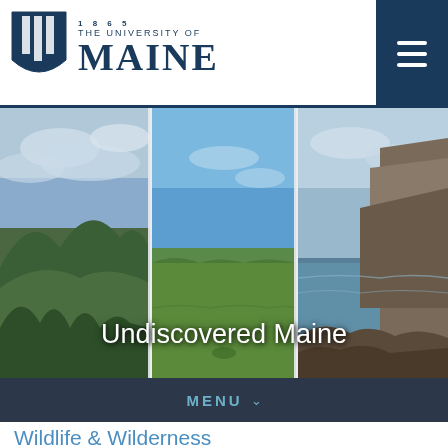1865 THE UNIVERSITY OF MAINE
[Figure (photo): Three landscape photos of Maine scenery side by side: left shows forested mountains with cloudy sky, center shows open green meadow with blue sky, right shows rocky coastline with ocean. Text overlay reads 'Undiscovered Maine'.]
MENU
Wildlife & Wilderness
Maine is home to abundant wildlife including moose, loons, deer, fox, LOTS of beautiful birds and other